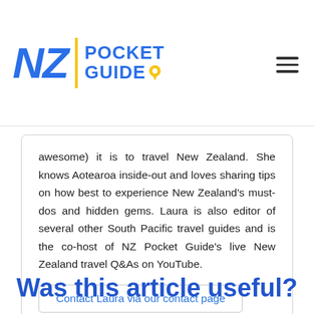NZ Pocket Guide
awesome) it is to travel New Zealand. She knows Aotearoa inside-out and loves sharing tips on how best to experience New Zealand’s must-dos and hidden gems. Laura is also editor of several other South Pacific travel guides and is the co-host of NZ Pocket Guide’s live New Zealand travel Q&As on YouTube.
Contact Laura via our contact page
Was this article useful?